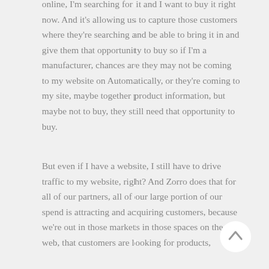online, I'm searching for it and I want to buy it right now. And it's allowing us to capture those customers where they're searching and be able to bring it in and give them that opportunity to buy so if I'm a manufacturer, chances are they may not be coming to my website on Automatically, or they're coming to my site, maybe together product information, but maybe not to buy, they still need that opportunity to buy.
But even if I have a website, I still have to drive traffic to my website, right? And Zorro does that for all of our partners, all of our large portion of our spend is attracting and acquiring customers, because we're out in those markets in those spaces on the web, that customers are looking for products,